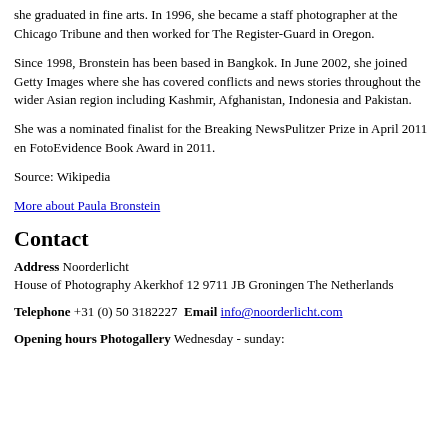she graduated in fine arts. In 1996, she became a staff photographer at the Chicago Tribune and then worked for The Register-Guard in Oregon.
Since 1998, Bronstein has been based in Bangkok. In June 2002, she joined Getty Images where she has covered conflicts and news stories throughout the wider Asian region including Kashmir, Afghanistan, Indonesia and Pakistan.
She was a nominated finalist for the Breaking NewsPulitzer Prize in April 2011 en FotoEvidence Book Award in 2011.
Source: Wikipedia
More about Paula Bronstein
Contact
Address Noorderlicht House of Photography Akerkhof 12 9711 JB Groningen The Netherlands
Telephone +31 (0) 50 3182227 Email info@noorderlicht.com
Opening hours Photogallery Wednesday - sunday: